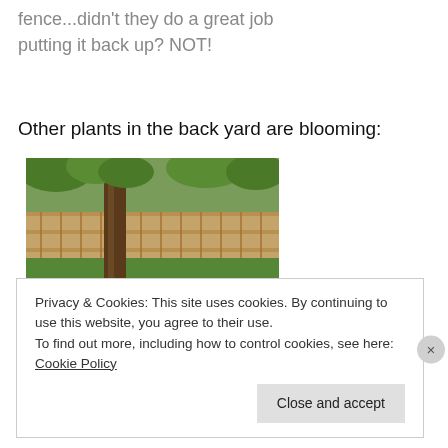fence...didn't they do a great job putting it back up? NOT!
Other plants in the back yard are blooming:
[Figure (photo): Outdoor garden scene showing pink flowering plants (peonies) in the foreground, a tree trunk in the middle ground, green grass lawn, and a wooden fence and trees in the background. Overcast lighting.]
Privacy & Cookies: This site uses cookies. By continuing to use this website, you agree to their use.
To find out more, including how to control cookies, see here: Cookie Policy
Close and accept